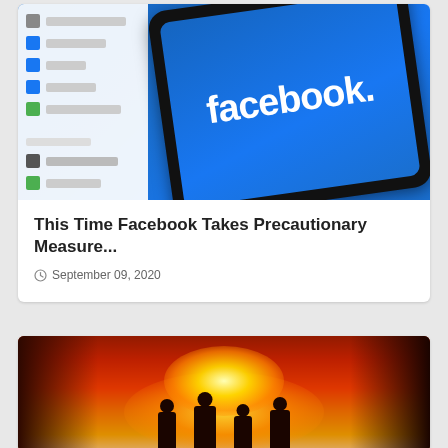[Figure (photo): A smartphone with a black frame displaying the Facebook app logo (white 'facebook.' text on blue background), shown against a blurred Facebook desktop interface background]
This Time Facebook Takes Precautionary Measure...
September 09, 2020
[Figure (photo): Firefighters silhouetted against a dramatic wildfire with intense orange and red flames and glowing embers in a forest setting]